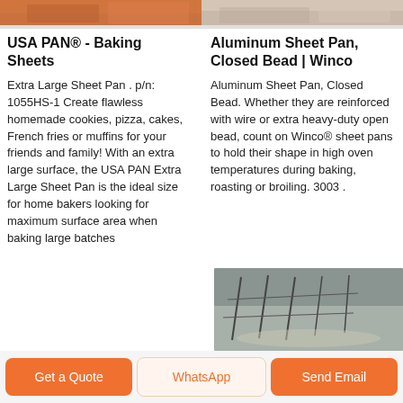[Figure (photo): Top partial image of baking sheet, left column, orange/brown tones]
[Figure (photo): Top partial image of aluminum sheet pan, right column, gray/beige tones]
USA PAN® - Baking Sheets
Extra Large Sheet Pan . p/n: 1055HS-1 Create flawless homemade cookies, pizza, cakes, French fries or muffins for your friends and family! With an extra large surface, the USA PAN Extra Large Sheet Pan is the ideal size for home bakers looking for maximum surface area when baking large batches
Aluminum Sheet Pan, Closed Bead | Winco
Aluminum Sheet Pan, Closed Bead. Whether they are reinforced with wire or extra heavy-duty open bead, count on Winco® sheet pans to hold their shape in high oven temperatures during baking, roasting or broiling. 3003 .
[Figure (photo): Partial bottom image showing aluminum sheet pan on concrete floor with wire rack]
Get a Quote
WhatsApp
Send Email